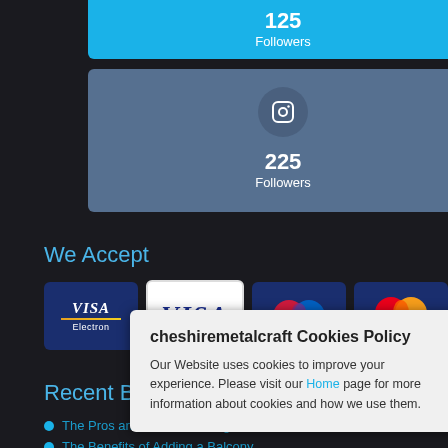[Figure (infographic): Twitter followers bar showing 125 Followers in cyan/blue color]
[Figure (infographic): Instagram followers bar showing 225 Followers with Instagram camera icon on steel blue background]
We Accept
[Figure (infographic): Payment method icons: Visa Electron, Visa, Maestro, MasterCard]
Recent Blog Posts
The Pros and Cons of Wrought Iron Gates
The Benefits of Adding a Balcony
(third blog post item, partially visible)
How To Surface Prep Wrought Iron Gates
[Figure (infographic): Cookie policy popup overlay: cheshiremetalcraft Cookies Policy - Our Website uses cookies to improve your experience. Please visit our Home page for more information about cookies and how we use them.]